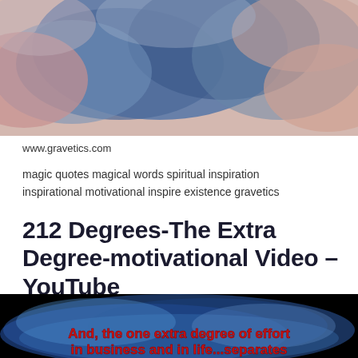[Figure (photo): Abstract watercolor-like image with pink, blue, and grey tones at the top of the page]
www.gravetics.com
magic quotes magical words spiritual inspiration inspirational motivational inspire existence gravetics
212 Degrees-The Extra Degree-motivational Video – YouTube
[Figure (screenshot): YouTube video thumbnail showing dark blue smoky background with red bold text reading 'And, the one extra degree of effort in business and in life... separates']